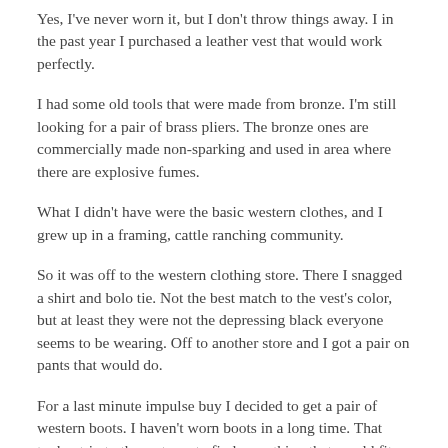Yes, I've never worn it, but I don't throw things away. I in the past year I purchased a leather vest that would work perfectly.
I had some old tools that were made from bronze. I'm still looking for a pair of brass pliers. The bronze ones are commercially made non-sparking and used in area where there are explosive fumes.
What I didn't have were the basic western clothes, and I grew up in a framing, cattle ranching community.
So it was off to the western clothing store. There I snagged a shirt and bolo tie. Not the best match to the vest's color, but at least they were not the depressing black everyone seems to be wearing. Off to another store and I got a pair on pants that would do.
For a last minute impulse buy I decided to get a pair of western boots. I haven't worn boots in a long time. That took a trip to three stores to find something that would fit. Luckily the ones that fit were in a color I liked.
I worked late into the night to generate a design and get the